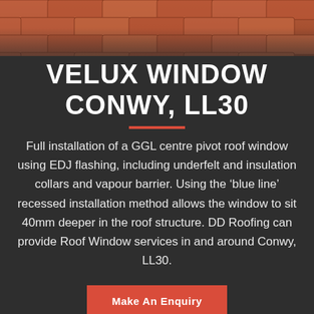[Figure (photo): Aerial/angled view of a tiled roof with terracotta/brown roof tiles]
VELUX WINDOW CONWY, LL30
Full installation of a GGL centre pivot roof window using EDJ flashing, including underfelt and insulation collars and vapour barrier. Using the ‘blue line’ recessed installation method allows the window to sit 40mm deeper in the roof structure. DD Roofing can provide Roof Window services in and around Conwy, LL30.
Make An Enquiry